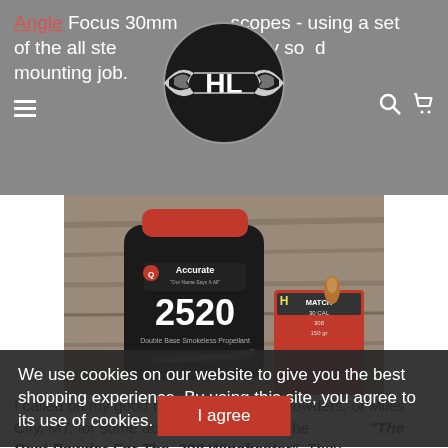Angle Focus 30mm scopes - using a set of the all steel ... a very solid mounting job.
[Figure (logo): HL winged logo badge in black and white]
[Figure (photo): Accurate 2520 Double Base Smokeless Propellant powder jug and Hornady Match 30 CAL box of bullets on wooden surface]
We use cookies on our website to give you the best shopping experience. By using this site, you agree to its use of cookies.
I called on my good friends at Western Powders, of Miles City, MT, for some advice on what might be titled "The Best Powder For The .308 Winchester". They
I agree